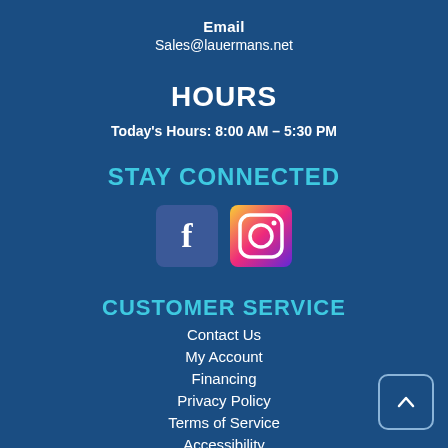Email
Sales@lauermans.net
HOURS
Today's Hours: 8:00 AM – 5:30 PM
STAY CONNECTED
[Figure (illustration): Facebook and Instagram social media icon buttons]
CUSTOMER SERVICE
Contact Us
My Account
Financing
Privacy Policy
Terms of Service
Accessibility
Site Map